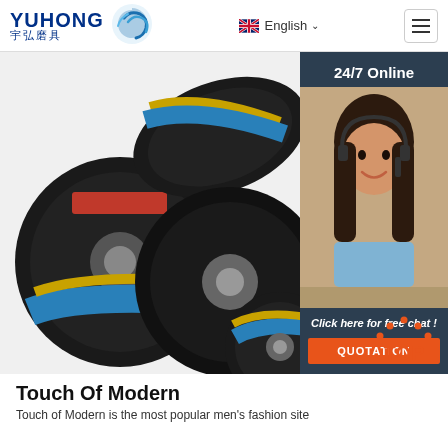YUHONG 宇弘磨具 | English | Navigation menu
[Figure (photo): Hero image showing multiple grinding/cutting discs (abrasive wheels) with blue and red labels, overlapping each other on a white background. An overlay panel on the right shows a customer service representative wearing a headset with '24/7 Online', 'Click here for free chat!', and a QUOTATION button.]
[Figure (other): Orange TOP button with dot-pattern arc above the text, positioned bottom-right of hero area]
Touch Of Modern
Touch of Modern is the most popular men's fashion site